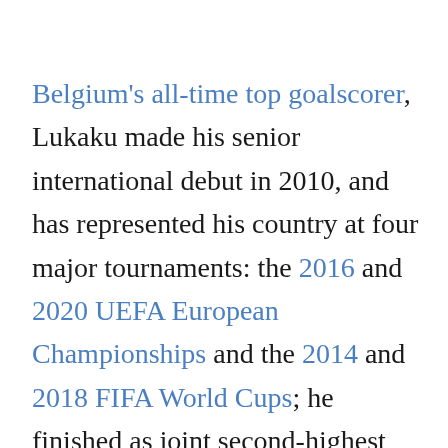Belgium's all-time top goalscorer, Lukaku made his senior international debut in 2010, and has represented his country at four major tournaments: the 2016 and 2020 UEFA European Championships and the 2014 and 2018 FIFA World Cups; he finished as joint second-highest goalscorer won the Bronze Boot in the latter.